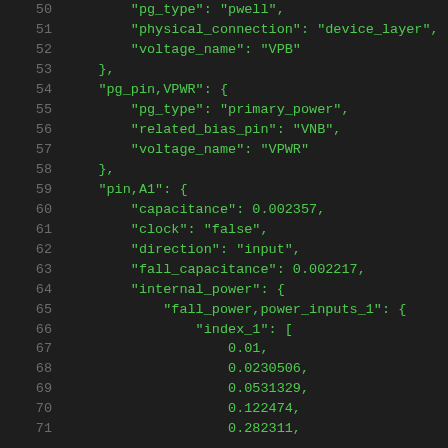Code listing lines 50-71: JSON/Liberty format showing pg_type, physical_connection, voltage_name, pg_pin definitions, and pin A1 capacitance/power data